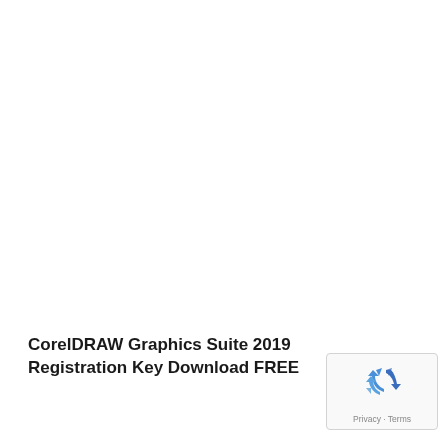CorelDRAW Graphics Suite 2019 Registration Key Download FREE
[Figure (logo): reCAPTCHA badge with recycling-arrow logo icon and 'Privacy · Terms' footer text]